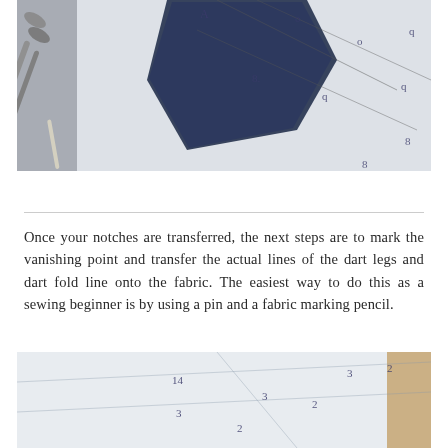[Figure (photo): Close-up photo of a sewing pattern on paper with dark navy blue pattern notch marks and lines, alongside scissors and a ruler/pencil, with numbers visible on the pattern paper]
Once your notches are transferred, the next steps are to mark the vanishing point and transfer the actual lines of the dart legs and dart fold line onto the fabric. The easiest way to do this as a sewing beginner is by using a pin and a fabric marking pencil.
[Figure (photo): Close-up photo of pattern paper with light pencil lines and small numbers (1, 2, 3, 4) marked at various points, showing dart transfer marks on the fabric/pattern]